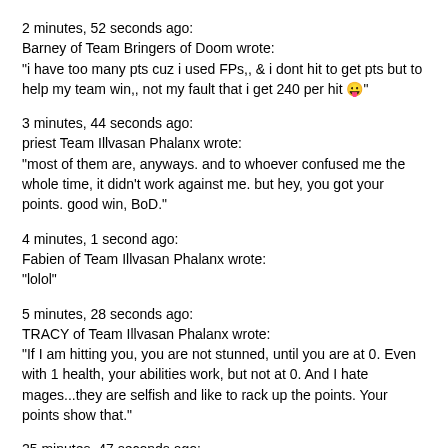2 minutes, 52 seconds ago:
Barney of Team Bringers of Doom wrote:
"i have too many pts cuz i used FPs,, & i dont hit to get pts but to help my team win,, not my fault that i get 240 per hit 😛"
3 minutes, 44 seconds ago:
priest Team Illvasan Phalanx wrote:
"most of them are, anyways. and to whoever confused me the whole time, it didn't work against me. but hey, you got your points. good win, BoD."
4 minutes, 1 second ago:
Fabien of Team Illvasan Phalanx wrote:
"lolol"
5 minutes, 28 seconds ago:
TRACY of Team Illvasan Phalanx wrote:
"If I am hitting you, you are not stunned, until you are at 0. Even with 1 health, your abilities work, but not at 0. And I hate mages...they are selfish and like to rack up the points. Your points show that."
25 minutes, 47 seconds ago:
Tundra Wolf of Team Illvasan Phalanx wrote:
"hahahaha"
35 minutes, 14 seconds ago:
Fabien of Team Illvasan Phalanx wrote:
"lol ... arena 🙂"